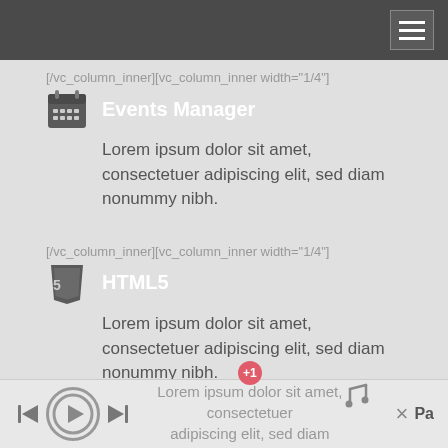[hamburger menu icon]
[/vc_column_inner][vc_column_inner width="1/4"]
Events Manager
Lorem ipsum dolor sit amet, consectetuer adipiscing elit, sed diam nonummy nibh.
[/vc_column_inner][vc_column_inner width="1/4"]
HTML5
Lorem ipsum dolor sit amet, consectetuer adipiscing elit, sed diam nonummy nibh.
[/vc_column_inner][vc_column_inner width="1/4"]
CSS3
Lorem ipsum dolor sit amet, consectetuer adipiscing elit, sed diam nonummy nibh.
+1 Pa